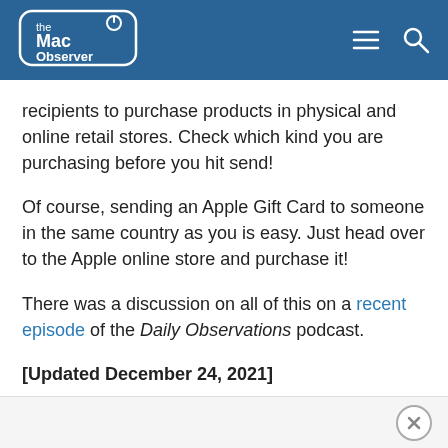The Mac Observer
recipients to purchase products in physical and online retail stores. Check which kind you are purchasing before you hit send!
Of course, sending an Apple Gift Card to someone in the same country as you is easy. Just head over to the Apple online store and purchase it!
There was a discussion on all of this on a recent episode of the Daily Observations podcast.
[Updated December 24, 2021]